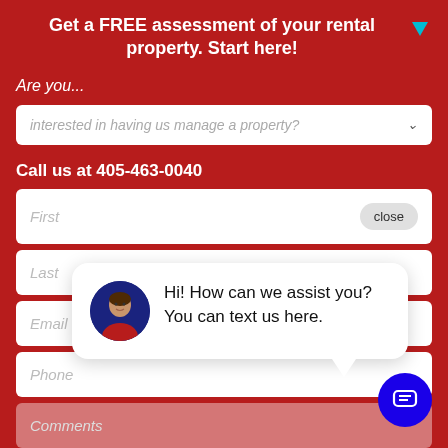Get a FREE assessment of your rental property. Start here!
Are you...
interested in having us manage a property?
Call us at 405-463-0040
First
close
Last
Email
[Figure (photo): Chat popup with avatar photo of a woman in red jacket, text: Hi! How can we assist you? You can text us here.]
Phone
Comments